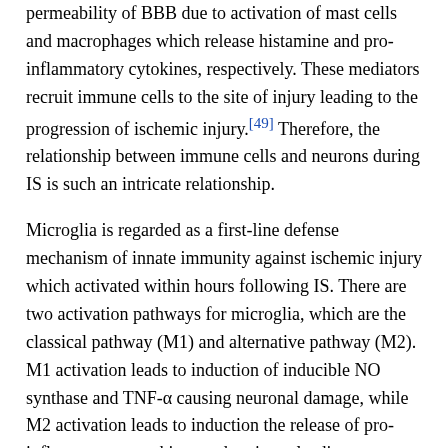...was confirmed that IS can cause neuroinflammations which increase the permeability of BBB due to activation of mast cells and macrophages which release histamine and pro-inflammatory cytokines, respectively. These mediators recruit immune cells to the site of injury leading to the progression of ischemic injury.[49] Therefore, the relationship between immune cells and neurons during IS is such an intricate relationship.
Microglia is regarded as a first-line defense mechanism of innate immunity against ischemic injury which activated within hours following IS. There are two activation pathways for microglia, which are the classical pathway (M1) and alternative pathway (M2). M1 activation leads to induction of inducible NO synthase and TNF-α causing neuronal damage, while M2 activation leads to induction the release of pro-inflammatory cytokines and arginase leading to neuroprotection.[50] Aging is associated with impaired M2 activation and thus; M1 activation overriding M2 causing more inflammatory changes in elderly patients with IS.[51]
Similarly, astrocyte which is another type of glial cell contributes to the formation of BBB and is activated following IS. Reactive astrocyte subdivided into A1 which plays a role in the neuronal damage through upregulation of complement...